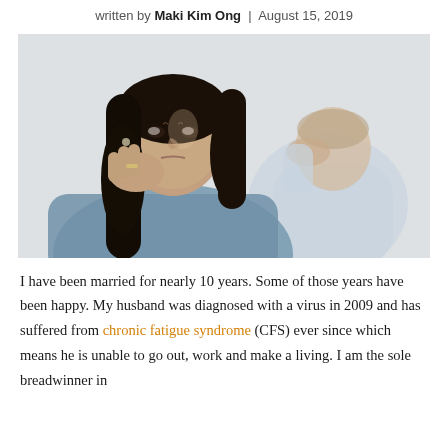written by Maki Kim Ong | August 15, 2019
[Figure (photo): A woman with dark hair resting her chin on her hand looking distressed in the foreground, and a man in a light blue shirt with his head in his hands in the background, sitting apart on what appears to be a couch.]
I have been married for nearly 10 years. Some of those years have been happy. My husband was diagnosed with a virus in 2009 and has suffered from chronic fatigue syndrome (CFS) ever since which means he is unable to go out, work and make a living. I am the sole breadwinner in